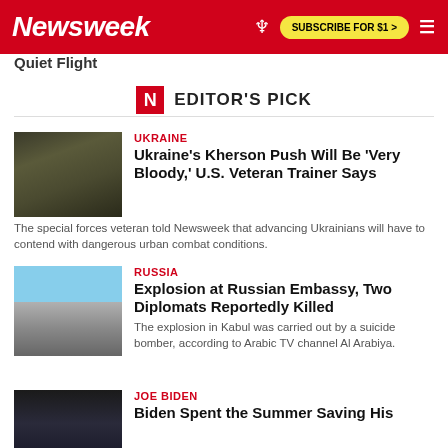Newsweek | SUBSCRIBE FOR $1 >
Quiet Flight
EDITOR'S PICK
UKRAINE
Ukraine's Kherson Push Will Be 'Very Bloody,' U.S. Veteran Trainer Says
The special forces veteran told Newsweek that advancing Ukrainians will have to contend with dangerous urban combat conditions.
RUSSIA
Explosion at Russian Embassy, Two Diplomats Reportedly Killed
The explosion in Kabul was carried out by a suicide bomber, according to Arabic TV channel Al Arabiya.
JOE BIDEN
Biden Spent the Summer Saving His